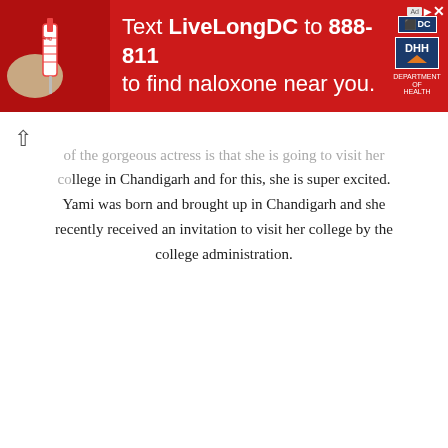[Figure (infographic): Red advertisement banner: 'Text LiveLongDC to 888-811 to find naloxone near you.' with DC government logos and medication/syringe image on left.]
...of the gorgeous actress is that she is going to visit her college in Chandigarh and for this, she is super excited. Yami was born and brought up in Chandigarh and she recently received an invitation to visit her college by the college administration.
[Figure (infographic): Purple advertisement banner: 'MBA – Business Analytics. BECOME A DATA-DRIVEN LEADER' with photo of a smiling woman in office setting with clocks showing Cape Town time.]